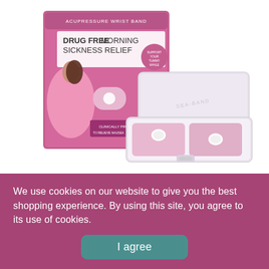[Figure (photo): Product photo of SEA-BAND Morning Sickness Acupressure Wrist Band — showing the pink box labeled 'DRUG FREE MORNING SICKNESS RELIEF' with an image of a pregnant woman, alongside a clear plastic case containing two pink knitted wristbands with white acupressure buttons.]
SEA-BAND Morning Sickness Acupressure Wrist Band
Sold Out
We use cookies on our website to give you the best shopping experience. By using this site, you agree to its use of cookies.
I agree